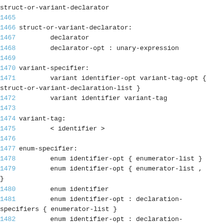struct-or-variant-declarator
1465
1466 struct-or-variant-declarator:
1467         declarator
1468         declarator-opt : unary-expression
1469
1470 variant-specifier:
1471         variant identifier-opt variant-tag-opt { struct-or-variant-declaration-list }
1472         variant identifier variant-tag
1473
1474 variant-tag:
1475         < identifier >
1476
1477 enum-specifier:
1478         enum identifier-opt { enumerator-list }
1479         enum identifier-opt { enumerator-list , }
1480         enum identifier
1481         enum identifier-opt : declaration-specifiers { enumerator-list }
1482         enum identifier-opt : declaration-specifiers { enumerator-list , }
1483
1484 enumerator-list: